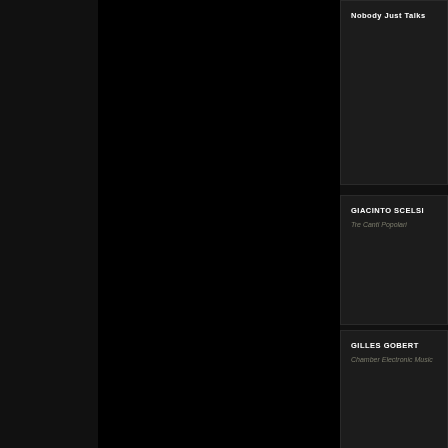[Figure (photo): Large black photographic image panel on the left side of the page]
Nobody Just Talks
GIACINTO SCELSI
Tre Canti Popolari
GILLES GOBERT
Chamber Electronic Music
HORATIO RADULESCU
Intimate Rituals
JEAN-LUC FAFCHAMPS
Melancholia si